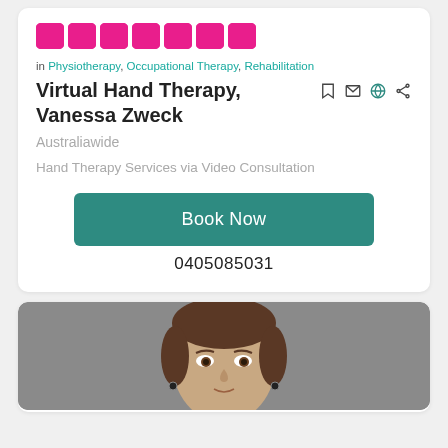[Figure (logo): Pink/magenta block letter logo strip at top of card]
in Physiotherapy, Occupational Therapy, Rehabilitation
Virtual Hand Therapy, Vanessa Zweck
Australiawide
Hand Therapy Services via Video Consultation
Book Now
0405085031
[Figure (photo): Portrait photo of a woman with brown hair pulled back, looking directly at camera, against a grey background]